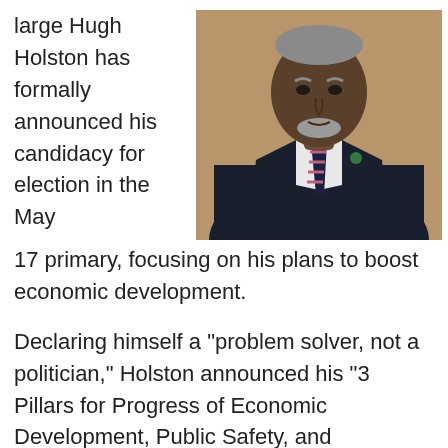large Hugh Holston has formally announced his candidacy for election in the May 17 primary, focusing on his plans to boost economic development.
[Figure (photo): Portrait photo of Hugh Holston wearing a dark suit and striped tie with a green lapel pin, against a warm brown background.]
Declaring himself a "problem solver, not a politician," Holston announced his "3 Pillars for Progress of Economic Development, Public Safety, and Community Engagement" platform. He said, "I am confident that my vision of 'Go B.I.G. - Believe In Greensboro' will result in solutions that have positive outcomes for the way that every existing